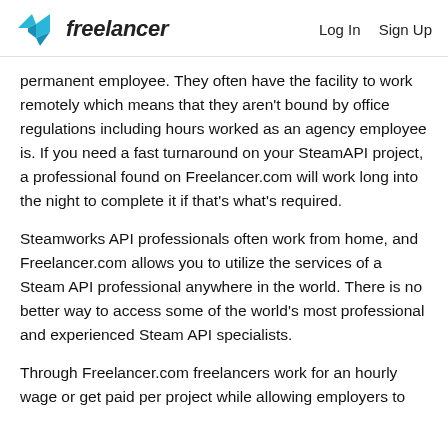freelancer   Log In   Sign Up
permanent employee. They often have the facility to work remotely which means that they aren't bound by office regulations including hours worked as an agency employee is. If you need a fast turnaround on your SteamAPI project, a professional found on Freelancer.com will work long into the night to complete it if that's what's required.
Steamworks API professionals often work from home, and Freelancer.com allows you to utilize the services of a Steam API professional anywhere in the world. There is no better way to access some of the world's most professional and experienced Steam API specialists.
Through Freelancer.com freelancers work for an hourly wage or get paid per project while allowing employers to